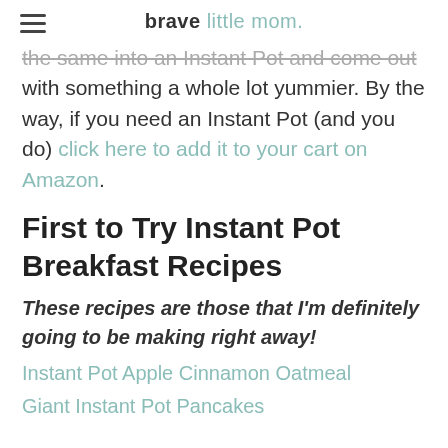brave little mom.
the same into an Instant Pot and come out with something a whole lot yummier. By the way, if you need an Instant Pot (and you do) click here to add it to your cart on Amazon.
First to Try Instant Pot Breakfast Recipes
These recipes are those that I'm definitely going to be making right away!
Instant Pot Apple Cinnamon Oatmeal
Giant Instant Pot Pancakes